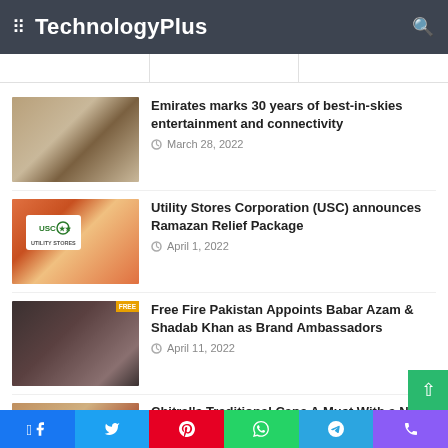TechnologyPlus
Emirates marks 30 years of best-in-skies entertainment and connectivity
March 28, 2022
Utility Stores Corporation (USC) announces Ramazan Relief Package
April 1, 2022
Free Fire Pakistan Appoints Babar Azam & Shadab Khan as Brand Ambassadors
April 11, 2022
Chitral's Traditional Cape A Must With a New Clothes in Chitral